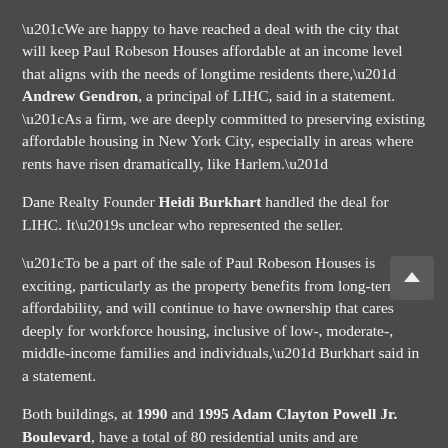“We are happy to have reached a deal with the city that will keep Paul Robeson Houses affordable at an income level that aligns with the needs of longtime residents there,” Andrew Gendron, a principal of LIHC, said in a statement. “As a firm, we are deeply committed to preserving existing affordable housing in New York City, especially in areas where rents have risen dramatically, like Harlem.”
Dane Realty Founder Heidi Burkhart handled the deal for LIHC. It’s unclear who represented the seller.
“To be a part of the sale of Paul Robeson Houses is exciting, particularly as the property benefits from long-term affordability, and will continue to have ownership that cares deeply for workforce housing, inclusive of low-, moderate-, middle-income families and individuals,” Burkhart said in a statement.
Both buildings, at 1990 and 1995 Adam Clayton Powell Jr. Boulevard, have a total of 80 residential units and are comprised of a combined 91,675 square feet. Ariel Property Advisors first listed the complex for sale in 2016 with an asking price of $19.9 million, according to a